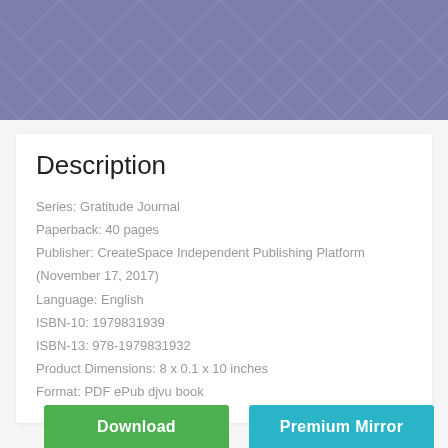[Figure (illustration): Decorative herringbone/chevron pattern in muted purple/periwinkle color as page header background]
Description
Series: Gratitude Journal
Paperback: 40 pages
Publisher: CreateSpace Independent Publishing Platform (November 17, 2017)
Language: English
ISBN-10: 1979831939
ISBN-13: 978-1979831932
Product Dimensions: 8 x 0.1 x 10 inches
Format: PDF ePub djvu book
Download
Premium Mirror